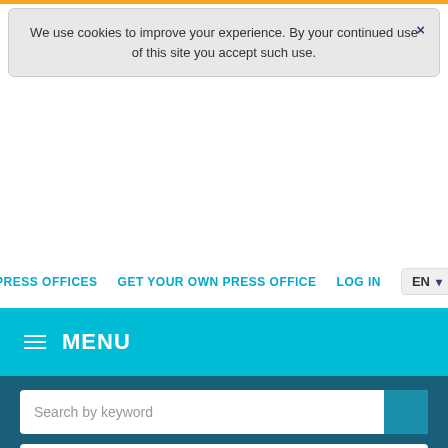We use cookies to improve your experience. By your continued use of this site you accept such use. ×
PRESS OFFICES   GET YOUR OWN PRESS OFFICE   LOG IN   EN
MENU
Search by keyword
Industry